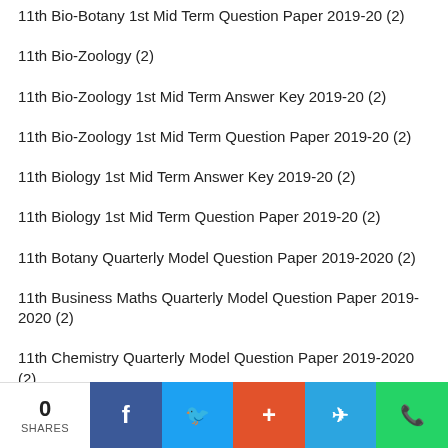11th Bio-Botany 1st Mid Term Question Paper 2019-20 (2)
11th Bio-Zoology (2)
11th Bio-Zoology 1st Mid Term Answer Key 2019-20 (2)
11th Bio-Zoology 1st Mid Term Question Paper 2019-20 (2)
11th Biology 1st Mid Term Answer Key 2019-20 (2)
11th Biology 1st Mid Term Question Paper 2019-20 (2)
11th Botany Quarterly Model Question Paper 2019-2020 (2)
11th Business Maths Quarterly Model Question Paper 2019-2020 (2)
11th Chemistry Quarterly Model Question Paper 2019-2020 (2)
11th Commerce Second MidTerm 2019-20 (2)
11th Commerce Second MidTerm Answer Keys 2019-20 (2)
11th Computer Technology (2)
0 SHARES | Facebook | Twitter | Plus | Telegram | WhatsApp